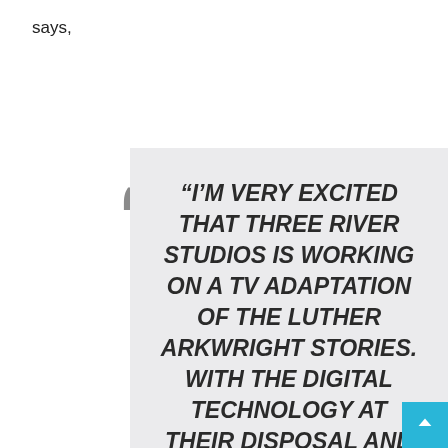says,
“I’M VERY EXCITED THAT THREE RIVER STUDIOS IS WORKING ON A TV ADAPTATION OF THE LUTHER ARKWRIGHT STORIES. WITH THE DIGITAL TECHNOLOGY AT THEIR DISPOSAL AND A GENUINE LOVE OF